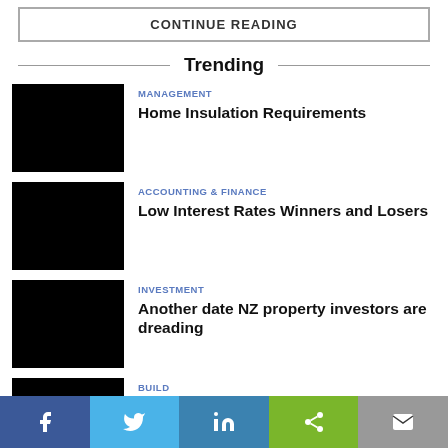CONTINUE READING
Trending
MANAGEMENT
Home Insulation Requirements
ACCOUNTING & FINANCE
Low Interest Rates Winners and Losers
INVESTMENT
Another date NZ property investors are dreading
BUILD
How to Choose and Purchase a